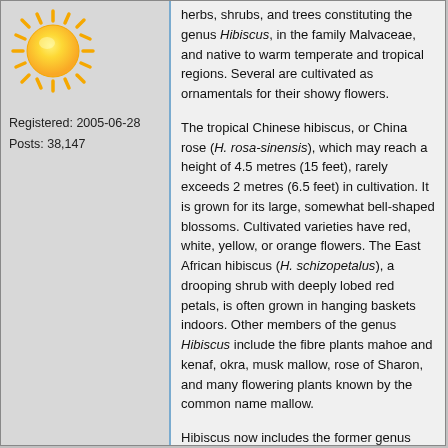[Figure (illustration): Yellow sun icon/emoji image]
Registered: 2005-06-28
Posts: 38,147
herbs, shrubs, and trees constituting the genus Hibiscus, in the family Malvaceae, and native to warm temperate and tropical regions. Several are cultivated as ornamentals for their showy flowers.
The tropical Chinese hibiscus, or China rose (H. rosa-sinensis), which may reach a height of 4.5 metres (15 feet), rarely exceeds 2 metres (6.5 feet) in cultivation. It is grown for its large, somewhat bell-shaped blossoms. Cultivated varieties have red, white, yellow, or orange flowers. The East African hibiscus (H. schizopetalus), a drooping shrub with deeply lobed red petals, is often grown in hanging baskets indoors. Other members of the genus Hibiscus include the fibre plants mahoe and kenaf, okra, musk mallow, rose of Sharon, and many flowering plants known by the common name mallow.
Hibiscus now includes the former genus Abutilon, containing more than 100 species of herbaceous plants and partly woody shrubs native to tropical and warm temperate areas. Several species are used as houseplants and in gardens for their white to deep orange, usually nodding, five-petaled blossoms. H. hybridum, sometimes called Chinese lantern, is planted outdoors in warm regions and grown in greenhouses elsewhere. The trailing